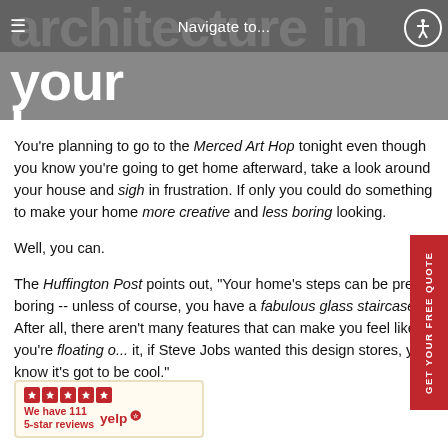Navigate to...
architecture in your home or business into something special.
You're planning to go to the Merced Art Hop tonight even though you know you're going to get home afterward, take a look around your house and sigh in frustration. If only you could do something to make your home more creative and less boring looking.
Well, you can.
The Huffington Post points out, "Your home's steps can be pretty boring -- unless of course, you have a fabulous glass staircase. After all, there aren't many features that can make you feel like you're floating... it, if Steve Jobs wanted this design stores, you know it's got to be cool."
[Figure (logo): Yelp badge with 5 red star icons and text 'We have 111 5-star reviews' with Yelp logo]